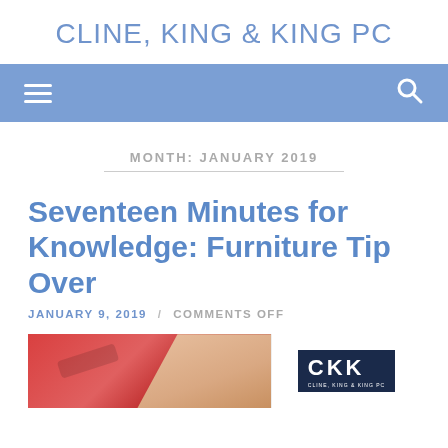CLINE, KING & KING PC
[Figure (other): Navigation bar with hamburger menu icon and search icon on blue background]
MONTH: JANUARY 2019
Seventeen Minutes for Knowledge: Furniture Tip Over
JANUARY 9, 2019 / COMMENTS OFF
[Figure (photo): Partial photo showing a red piece of furniture and a person's hand/arm, alongside CKK logo on dark navy background]